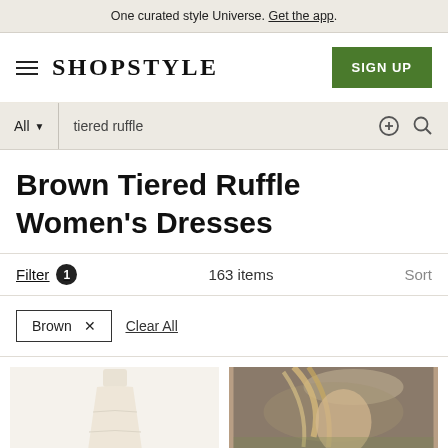One curated style Universe. Get the app.
SHOPSTYLE  SIGN UP
All  tiered ruffle
Brown Tiered Ruffle Women's Dresses
Filter 1  163 items  Sort
Brown ×  Clear All
[Figure (photo): Product image of a women's tiered ruffle dress in cream/beige color]
[Figure (photo): Product image showing a woman with long blonde hair, wearing a tiered ruffle dress in brown tones, outdoors in a field]